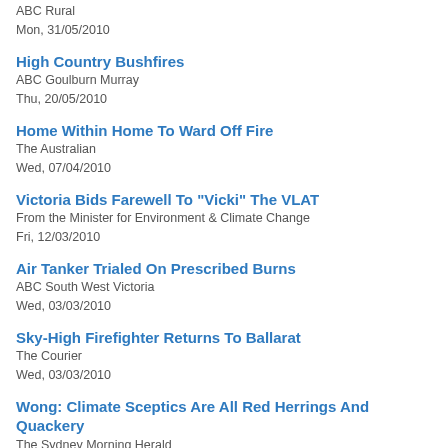ABC Rural
Mon, 31/05/2010
High Country Bushfires
ABC Goulburn Murray
Thu, 20/05/2010
Home Within Home To Ward Off Fire
The Australian
Wed, 07/04/2010
Victoria Bids Farewell To "Vicki" The VLAT
From the Minister for Environment & Climate Change
Fri, 12/03/2010
Air Tanker Trialed On Prescribed Burns
ABC South West Victoria
Wed, 03/03/2010
Sky-High Firefighter Returns To Ballarat
The Courier
Wed, 03/03/2010
Wong: Climate Sceptics Are All Red Herrings And Quackery
The Sydney Morning Herald
Thu, 18/02/2010